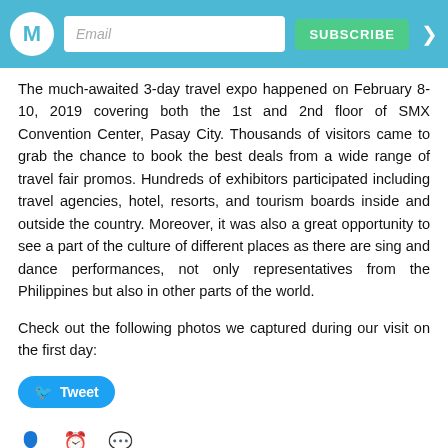Email | SUBSCRIBE
The much-awaited 3-day travel expo happened on February 8-10, 2019 covering both the 1st and 2nd floor of SMX Convention Center, Pasay City. Thousands of visitors came to grab the chance to book the best deals from a wide range of travel fair promos. Hundreds of exhibitors participated including travel agencies, hotel, resorts, and tourism boards inside and outside the country. Moreover, it was also a great opportunity to see a part of the culture of different places as there are sing and dance performances, not only representatives from the Philippines but also in other parts of the world.
Check out the following photos we captured during our visit on the first day:
Tweet
Share
Upcoming Manila